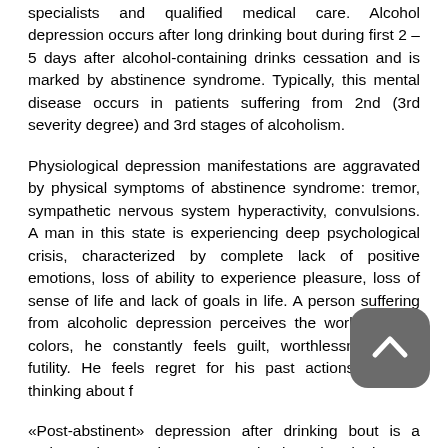specialists and qualified medical care. Alcohol depression occurs after long drinking bout during first 2 – 5 days after alcohol-containing drinks cessation and is marked by abstinence syndrome. Typically, this mental disease occurs in patients suffering from 2nd (3rd severity degree) and 3rd stages of alcoholism.
Physiological depression manifestations are aggravated by physical symptoms of abstinence syndrome: tremor, sympathetic nervous system hyperactivity, convulsions. A man in this state is experiencing deep psychological crisis, characterized by complete lack of positive emotions, loss of ability to experience pleasure, loss of sense of life and lack of goals in life. A person suffering from alcoholic depression perceives the world in dark colors, he constantly feels guilt, worthlessness, and futility. He feels regret for his past actions, despair thinking about f...
«Post-abstinent» depression after drinking bout is a serious latent threat. Completely abandoning a...